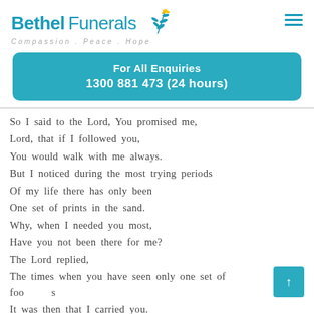Bethel Funerals — Compassion . Peace . Hope
For All Enquiries
1300 881 473 (24 hours)
So I said to the Lord, You promised me,
Lord, that if I followed you,
You would walk with me always.
But I noticed during the most trying periods
Of my life there has only been
One set of prints in the sand.
Why, when I needed you most,
Have you not been there for me?
The Lord replied,
The times when you have seen only one set of footprints
It was then that I carried you.